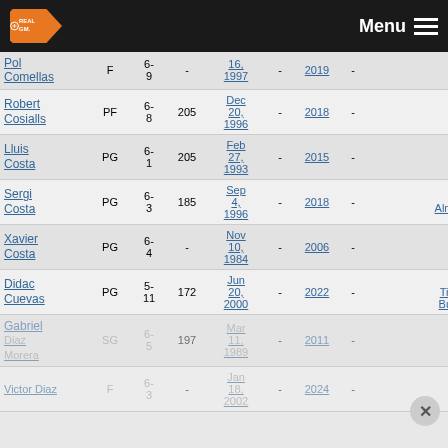RealGM - Menu
| Name | Pos | Ht | Wt | DOB | - | Year | - | - | Team |
| --- | --- | --- | --- | --- | --- | --- | --- | --- | --- |
| Pol Comellas | F | 6-9 | - | 16, 1997 | - | 2019 | - | - |  |
| Robert Cosialls | PF | 6-8 | 205 | Dec 20, 1996 | - | 2018 | - |  | - |
| Lluis Costa | PG | 6-1 | 205 | Feb 27, 1993 | - | 2015 | - |  | - |
| Sergi Costa | PG | 6-3 | 185 | Sep 4, 1996 | - | 2018 | - |  | CB Almansa |
| Xavier Costa | PG | 6-4 | - | Nov 10, 1984 | - | 2006 | - |  | - |
| Didac Cuevas | PG | 5-11 | 172 | Jun 20, 2000 | - | 2022 | - |  | CB Tizona Burgos |
| Gabriel Diaz Morera | SG | 6-5 | 197 | Mar 11, 1989 | - | 2011 | - |  | - |
| Victor Diaz | F | 6-3 | - | Jan 18, 2002 | - | 2024 | - |  | - |